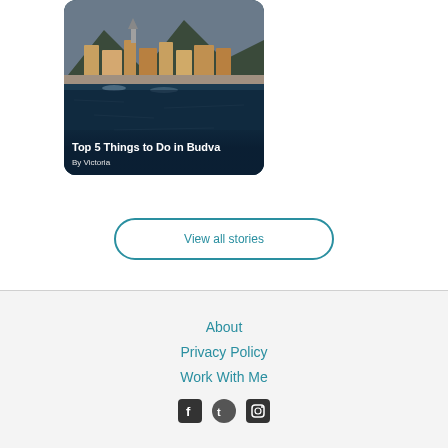[Figure (photo): Travel blog card showing coastal town of Budva with orange-roofed buildings and water, with overlay text 'Top 5 Things to Do in Budva' by Victoria]
View all stories
About
Privacy Policy
Work With Me
[Figure (illustration): Social media icons row (Facebook, Twitter/X, Instagram)]